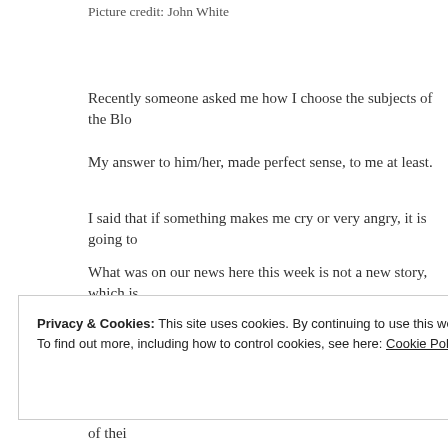Picture credit: John White
Recently someone asked me how I choose the subjects of the Blo
My answer to him/her,  made perfect sense,  to me at least.
I said that if something makes me cry or very angry, it is going to
What was on our news here this week  is not a new story, which is tragedy.
There are two animals in Florida that are constantly making the ne
When either of these two animals  wander out of the safety of thei outcome is frequently not good.
Privacy & Cookies: This site uses cookies. By continuing to use this website, you agree to their use.
To find out more, including how to control cookies, see here: Cookie Policy
Close and accept